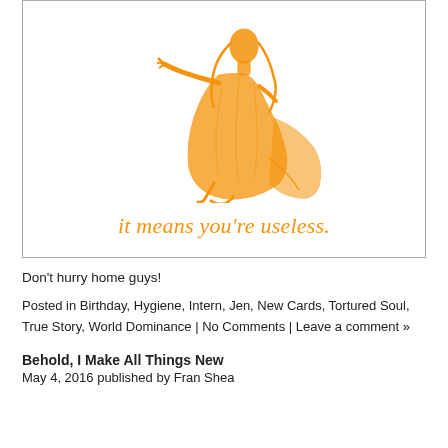[Figure (illustration): Orange-colored vintage illustration of a robed figure kneeling or bowing, with the text 'it means you’re useless.' below in orange italic serif font, inside a bordered box.]
Don’t hurry home guys!
Posted in Birthday, Hygiene, Intern, Jen, New Cards, Tortured Soul, True Story, World Dominance | No Comments | Leave a comment »
Behold, I Make All Things New
May 4, 2016 published by Fran Shea